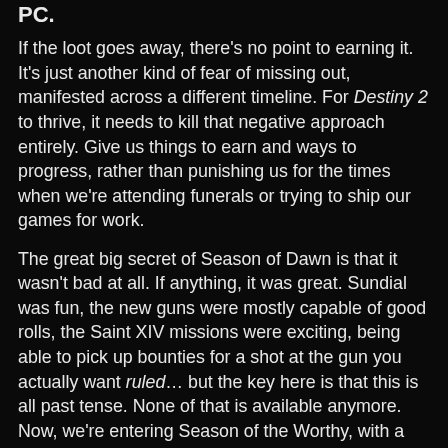PC.
If the loot goes away, there’s no point to earning it. It’s just another kind of fear of missing out, manifested across a different timeline. For Destiny 2 to thrive, it needs to kill that negative approach entirely. Give us things to earn and ways to progress, rather than punishing us for the times when we’re attending funerals or trying to ship our games for work.
The great big secret of Season of Dawn is that it wasn’t bad at all. If anything, it was great. Sundial was fun, the new guns were mostly capable of good rolls, the Saint XIV missions were exciting, being able to pick up bounties for a shot at the gun you actually want ruled… but the key here is that this is all past tense. None of that is available anymore. Now, we’re entering Season of the Worthy, with a new activity that’s pretty fun, but with less new content than ever before. As long as Bungie’s philosophy is about being overly clingy and pressuring you to play and isn’t a about healthy mix of desirable rewards, great variety, and minimal pressure, Destiny will be a game that looks and plays great but isn’t worth sticking around for.